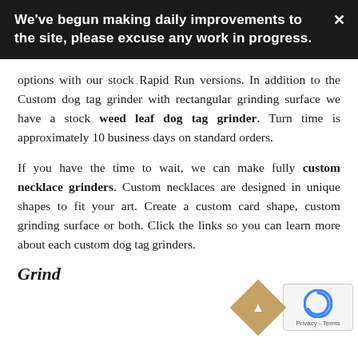We've begun making daily improvements to the site, please excuse any work in progress.
options with our stock Rapid Run versions. In addition to the Custom dog tag grinder with rectangular grinding surface we have a stock weed leaf dog tag grinder. Turn time is approximately 10 business days on standard orders.
If you have the time to wait, we can make fully custom necklace grinders. Custom necklaces are designed in unique shapes to fit your art. Create a custom card shape, custom grinding surface or both. Click the links so you can learn more about each custom dog tag grinders.
Grind